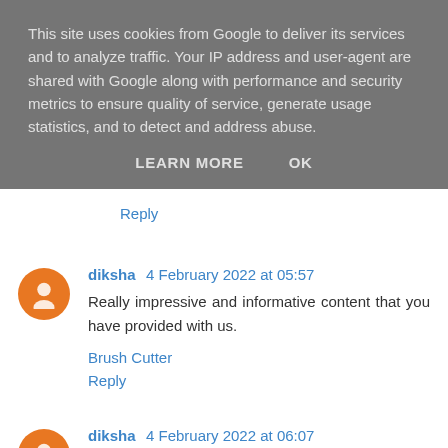This site uses cookies from Google to deliver its services and to analyze traffic. Your IP address and user-agent are shared with Google along with performance and security metrics to ensure quality of service, generate usage statistics, and to detect and address abuse.
LEARN MORE   OK
Reply
diksha 4 February 2022 at 05:57
Really impressive and informative content that you have provided with us.
Brush Cutter
Reply
diksha 4 February 2022 at 06:07